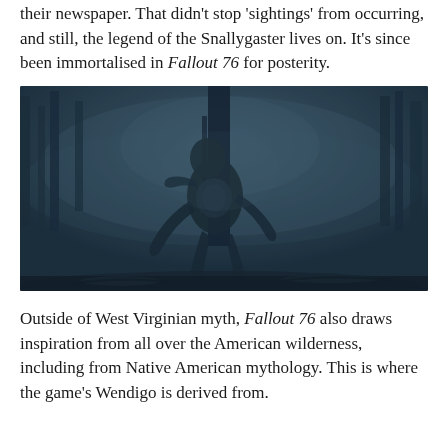their newspaper. That didn't stop 'sightings' from occurring, and still, the legend of the Snallygaster lives on. It's since been immortalised in Fallout 76 for posterity.
[Figure (photo): A dark, moody screenshot from Fallout 76 showing a creature (the Snallygaster or similar monster) standing in a foggy, blue-tinted forest environment. The creature has a hunched, alien-like silhouette with long limbs, standing among bare trees in dim atmospheric lighting.]
Outside of West Virginian myth, Fallout 76 also draws inspiration from all over the American wilderness, including from Native American mythology. This is where the game's Wendigo is derived from.